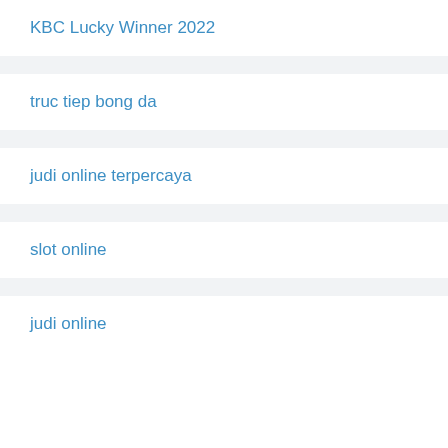KBC Lucky Winner 2022
truc tiep bong da
judi online terpercaya
slot online
judi online